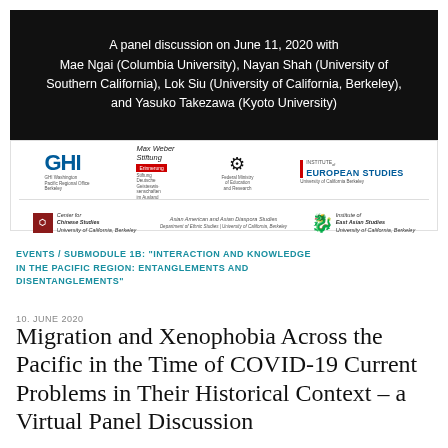[Figure (screenshot): Black banner with white text describing a panel discussion on June 11, 2020 with Mae Ngai (Columbia University), Nayan Shah (University of Southern California), Lok Siu (University of California, Berkeley), and Yasuko Takezawa (Kyoto University)]
[Figure (screenshot): Logos bar showing institutional logos: GHI (GHI Washington Pacific Regional Office Berkeley), Max Weber Stiftung, Federal Ministry of Education and Research, Institute of European Studies, Center for Chinese Studies University of California Berkeley, Asian American and Asian Diaspora Studies, Institute of East Asian Studies]
EVENTS / SUBMODULE 1B: "INTERACTION AND KNOWLEDGE IN THE PACIFIC REGION: ENTANGLEMENTS AND DISENTANGLEMENTS"
10. JUNE 2020
Migration and Xenophobia Across the Pacific in the Time of COVID-19 Current Problems in Their Historical Context – a Virtual Panel Discussion